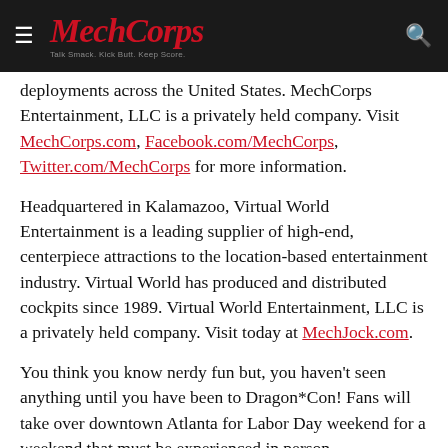MechCorps — Talk Smack. Kick Butt. Keep Score.
deployments across the United States. MechCorps Entertainment, LLC is a privately held company. Visit MechCorps.com, Facebook.com/MechCorps, Twitter.com/MechCorps for more information.
Headquartered in Kalamazoo, Virtual World Entertainment is a leading supplier of high-end, centerpiece attractions to the location-based entertainment industry. Virtual World has produced and distributed cockpits since 1989. Virtual World Entertainment, LLC is a privately held company. Visit today at MechJock.com.
You think you know nerdy fun but, you haven't seen anything until you have been to Dragon*Con! Fans will take over downtown Atlanta for Labor Day weekend for a weekend that must be experienced in person. Dragon*Con is one of the biggest fandom